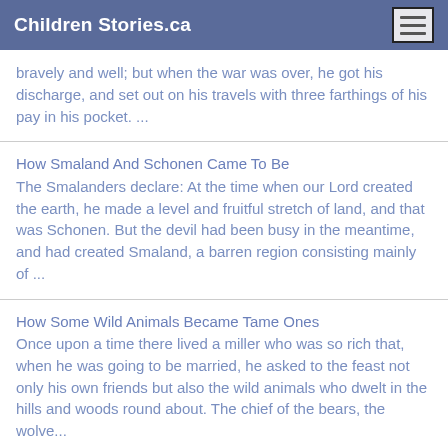Children Stories.ca
bravely and well; but when the war was over, he got his discharge, and set out on his travels with three farthings of his pay in his pocket. ...
How Smaland And Schonen Came To Be
The Smalanders declare: At the time when our Lord created the earth, he made a level and fruitful stretch of land, and that was Schonen. But the devil had been busy in the meantime, and had created Smaland, a barren region consisting mainly of ...
How Some Wild Animals Became Tame Ones
Once upon a time there lived a miller who was so rich that, when he was going to be married, he asked to the feast not only his own friends but also the wild animals who dwelt in the hills and woods round about. The chief of the bears, the wolve...